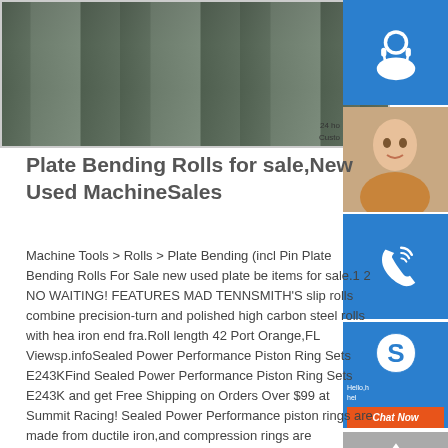[Figure (photo): Industrial steel plate bending rolls or conveyor machinery, viewed from above, showing long parallel metal plates/rails in a factory setting.]
Plate Bending Rolls for sale,New Used MachineSales
Machine Tools > Rolls > Plate Bending (incl Pin Plate Bending Rolls For Sale new used plate bending items for sale.1 2 NO WAITING! FEATURES MADE TENNSMITH'S slip rolls combine precision-turned and polished high carbon steel rolls with heavy iron end fra.Roll length 42 Port Orange,FL Viewsp.infoSealed Power Performance Piston Ring Sets E243KFind Sealed Power Performance Piston Ring Sets E243K and get Free Shipping on Orders Over $99 at Summit Racing! Sealed Power Performance piston rings are made from ductile iron,and compression rings are